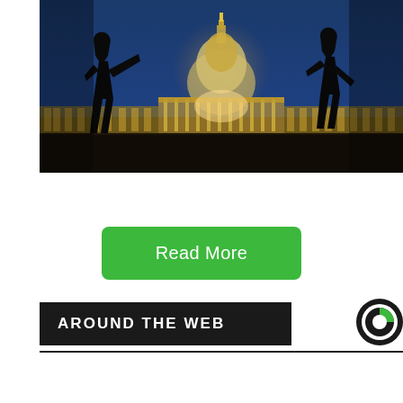[Figure (photo): Silhouettes of two people standing in front of the illuminated US Capitol building at night, with warm golden lights on the building's facade and a blue twilight sky in the background.]
Read More
AROUND THE WEB
[Figure (logo): Circular logo with black and green sections, resembling the letter C]